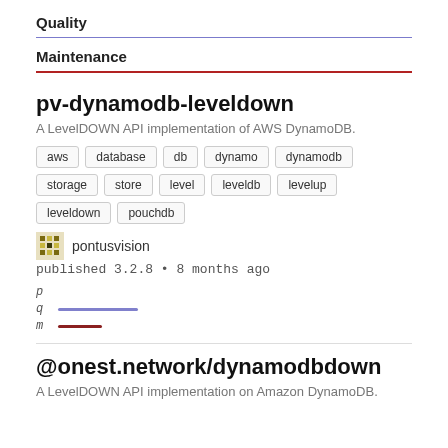Quality
Maintenance
pv-dynamodb-leveldown
A LevelDOWN API implementation of AWS DynamoDB.
aws
database
db
dynamo
dynamodb
storage
store
level
leveldb
levelup
leveldown
pouchdb
pontusvision
published 3.2.8 • 8 months ago
[Figure (infographic): Three score rows labeled p, q, m with colored horizontal bars. q has a purple bar, m has a red/dark-red bar.]
@onest.network/dynamodbdown
A LevelDOWN API implementation on Amazon DynamoDB.